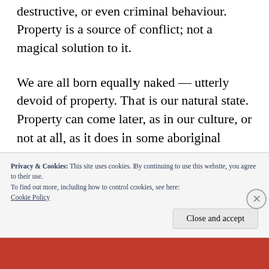destructive, or even criminal behaviour. Property is a source of conflict; not a magical solution to it.
We are all born equally naked — utterly devoid of property. That is our natural state. Property can come later, as in our culture, or not at all, as it does in some aboriginal societies. My point is government is our cultural response to the necessity of divying up scarce resources. It isn't perfect, but it's
Privacy & Cookies: This site uses cookies. By continuing to use this website, you agree to their use.
To find out more, including how to control cookies, see here: Cookie Policy
Close and accept